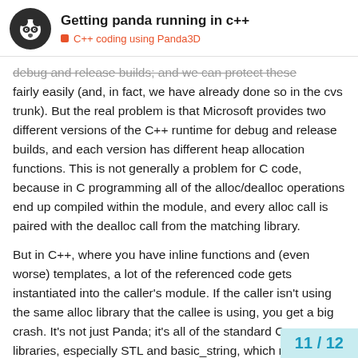Getting panda running in c++
debug and release builds, and we can protect these fairly easily (and, in fact, we have already done so in the cvs trunk). But the real problem is that Microsoft provides two different versions of the C++ runtime for debug and release builds, and each version has different heap allocation functions. This is not generally a problem for C code, because in C programming all of the alloc/dealloc operations end up compiled within the module, and every alloc call is paired with the dealloc call from the matching library.
But in C++, where you have inline functions and (even worse) templates, a lot of the referenced code gets instantiated into the caller's module. If the caller isn't using the same alloc library that the callee is using, you get a big crash. It's not just Panda; it's all of the standard C++ libraries, especially STL and basic_string, which rely heavily on templates and inline methods.
11 / 12